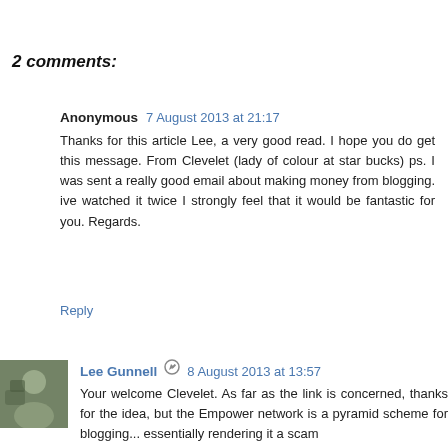2 comments:
Anonymous 7 August 2013 at 21:17
Thanks for this article Lee, a very good read. I hope you do get this message. From Clevelet (lady of colour at starbucks) ps. I was sent a really good email about making money from blogging. ive watched it twice I strongly feel that it would be fantastic for you. Regards.
Reply
Lee Gunnell 8 August 2013 at 13:57
Your welcome Clevelet. As far as the link is concerned, thanks for the idea, but the Empower network is a pyramid scheme for blogging... essentially rendering it a scam